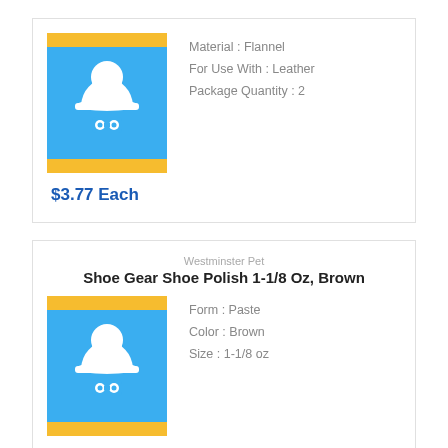[Figure (illustration): Product placeholder image: blue background with yellow stripe and white hard hat icon]
Material : Flannel
For Use With : Leather
Package Quantity : 2
$3.77 Each
Westminster Pet
Shoe Gear Shoe Polish 1-1/8 Oz, Brown
[Figure (illustration): Product placeholder image: blue background with yellow stripe and white hard hat icon]
Form : Paste
Color : Brown
Size : 1-1/8 oz